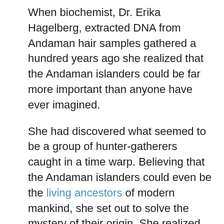When biochemist, Dr. Erika Hagelberg, extracted DNA from Andaman hair samples gathered a hundred years ago she realized that the Andaman islanders could be far more important than anyone have ever imagined.
She had discovered what seemed to be a group of hunter-gatherers caught in a time warp. Believing that the Andaman islanders could even be the living ancestors of modern mankind, she set out to solve the mystery of their origin. She realized their past could be a vital link to understanding the evolution of modern man.
Biochemist Erika Hagelberg has been involved in a number of high-profile forensic identification cases, but this story begins when she came across a huge collection of hair samples gathering dust in a drawer. They have been brought back from the Andaman Islands by the pioneering anthropologist Radcliffe